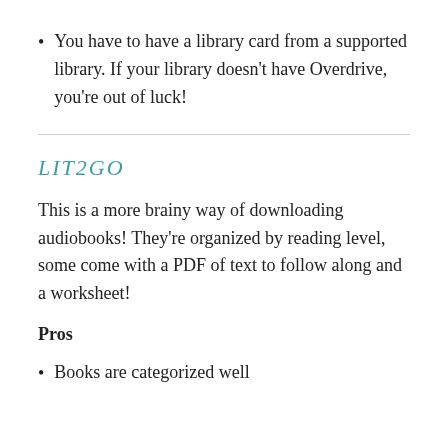You have to have a library card from a supported library. If your library doesn't have Overdrive, you're out of luck!
LIT2GO
This is a more brainy way of downloading audiobooks! They're organized by reading level, some come with a PDF of text to follow along and a worksheet!
Pros
Books are categorized well